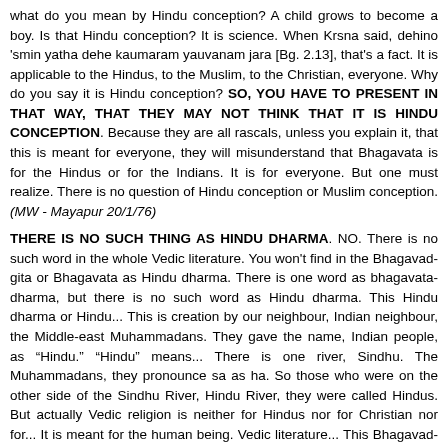what do you mean by Hindu conception? A child grows to become a boy. Is that Hindu conception? It is science. When Krsna said, dehino 'smin yatha dehe kaumaram yauvanam jara [Bg. 2.13], that's a fact. It is applicable to the Hindus, to the Muslim, to the Christian, everyone. Why do you say it is Hindu conception? SO, YOU HAVE TO PRESENT IN THAT WAY, THAT THEY MAY NOT THINK THAT IT IS HINDU CONCEPTION. Because they are all rascals, unless you explain it, that this is meant for everyone, they will misunderstand that Bhagavata is for the Hindus or for the Indians. It is for everyone. But one must realize. There is no question of Hindu conception or Muslim conception. (MW - Mayapur 20/1/76)
THERE IS NO SUCH THING AS HINDU DHARMA. NO. There is no such word in the whole Vedic literature. You won't find in the Bhagavad-gita or Bhagavata as Hindu dharma. There is one word as bhagavata-dharma, but there is no such word as Hindu dharma. This Hindu dharma or Hindu... This is creation by our neighbour, Indian neighbour, the Middle-east Muhammadans. They gave the name, Indian people, as "Hindu." "Hindu" means... There is one river, Sindhu. The Muhammadans, they pronounce sa as ha. So those who were on the other side of the Sindhu River, Hindu River, they were called Hindus. But actually Vedic religion is neither for Hindus nor for Christian nor for... It is meant for the human being. Vedic literature... This Bhagavad-gita, Srimad-Bhagavatam, they are VEDIC literature. (SB Lecture - NY 5/3/75)